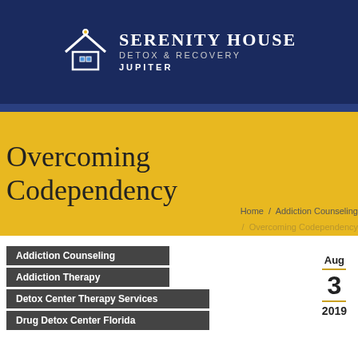[Figure (logo): Serenity House Detox & Recovery Jupiter logo with house/leaf icon on dark navy background]
Overcoming Codependency
Home / Addiction Counseling / Overcoming Codependency
Addiction Counseling
Addiction Therapy
Detox Center Therapy Services
Drug Detox Center Florida
Aug 3 2019